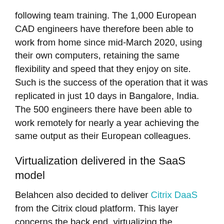following team training. The 1,000 European CAD engineers have therefore been able to work from home since mid-March 2020, using their own computers, retaining the same flexibility and speed that they enjoy on site. Such is the success of the operation that it was replicated in just 10 days in Bangalore, India. The 500 engineers there have been able to work remotely for nearly a year achieving the same output as their European colleagues.
Virtualization delivered in the SaaS model
Belahcen also decided to deliver Citrix DaaS from the Citrix cloud platform. This layer concerns the back end, virtualizing the workstations and applications on any type of device including server clients and on any network. The Azure cloud hosts